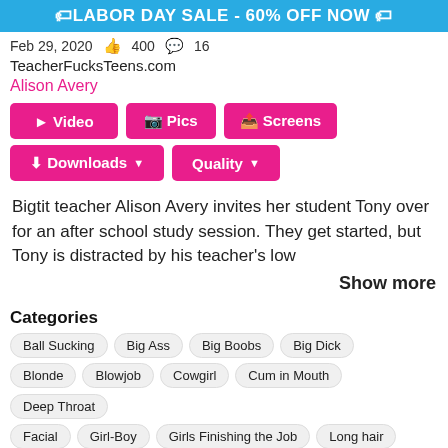🏷LABOR DAY SALE - 60% OFF NOW 🏷
Feb 29, 2020 👍 400 💬 16
TeacherFucksTeens.com
Alison Avery
▶ Video | 📷 Pics | 🔗 Screens
⬇ Downloads ▼ | Quality ▼
Bigtit teacher Alison Avery invites her student Tony over for an after school study session. They get started, but Tony is distracted by his teacher's low
Show more
Categories   Ball Sucking   Big Ass   Big Boobs   Big Dick   Blonde   Blowjob   Cowgirl   Cum in Mouth   Deep Throat   Facial   Girl-Boy   Girls Finishing the Job   Long hair   POV